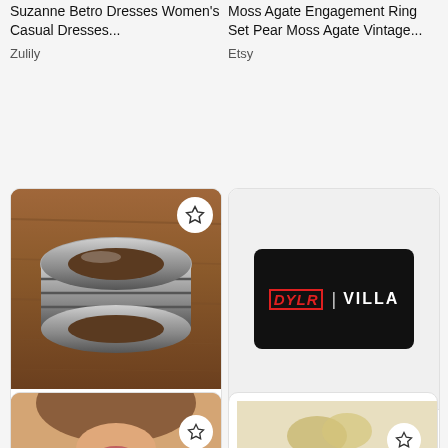Suzanne Betro Dresses Women's Casual Dresses...
Zulily
Moss Agate Engagement Ring Set Pear Moss Agate Vintage...
Etsy
[Figure (photo): Sterling silver wide band ring on wooden surface]
$47.00
Sterling~Silver~Big Mans~Wide Band~Ring~Nice~925~Size~14...
Etsy
[Figure (logo): DYLR | VILLA logo on black background with 50% Off promotional deal]
50% Off
View all deals
[Figure (photo): Partial view of woman's face with curly hair]
[Figure (photo): Partial view of product, possibly jewelry or accessory]